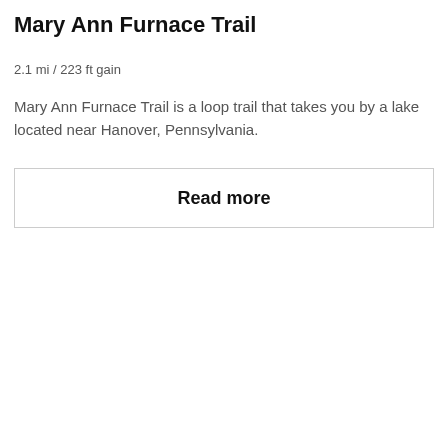Mary Ann Furnace Trail
2.1 mi / 223 ft gain
Mary Ann Furnace Trail is a loop trail that takes you by a lake located near Hanover, Pennsylvania.
Read more